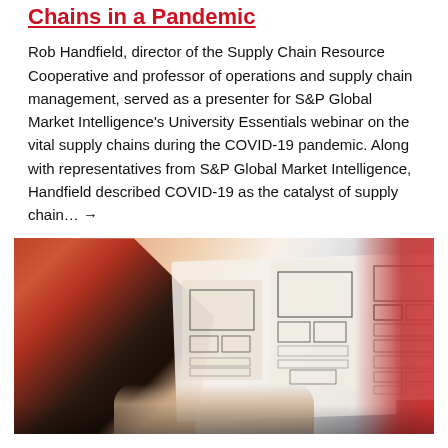Chains in a Pandemic
Rob Handfield, director of the Supply Chain Resource Cooperative and professor of operations and supply chain management, served as a presenter for S&P Global Market Intelligence's University Essentials webinar on the vital supply chains during the COVID-19 pandemic. Along with representatives from S&P Global Market Intelligence, Handfield described COVID-19 as the catalyst of supply chain… →
[Figure (photo): A person's arm visible drawing or reviewing wireframe/sketch diagrams on paper, with a red accent on the right side of the image.]